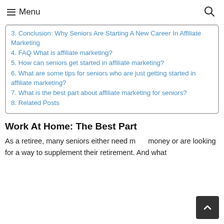Menu
3. Conclusion: Why Seniors Are Starting A New Career In Affiliate Marketing
4. FAQ What is affiliate marketing?
5. How can seniors get started in affiliate marketing?
6. What are some tips for seniors who are just getting started in affiliate marketing?
7. What is the best part about affiliate marketing for seniors?
8. Related Posts
Work At Home: The Best Part
As a retiree, many seniors either need more money or are looking for a way to supplement their retirement. And what